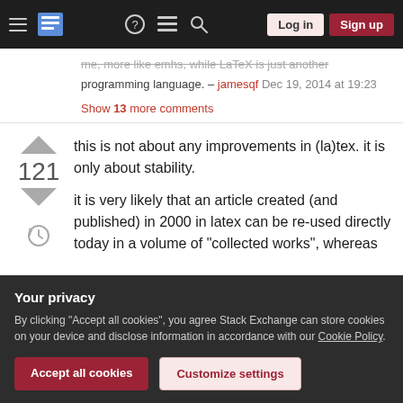Stack Exchange navigation bar with Log in and Sign up buttons
me, more like emhs, while LaTeX is just another programming language. – jamesqf Dec 19, 2014 at 19:23
Show 13 more comments
this is not about any improvements in (la)tex. it is only about stability.
it is very likely that an article created (and published) in 2000 in latex can be re-used directly today in a volume of "collected works", whereas
Your privacy
By clicking "Accept all cookies", you agree Stack Exchange can store cookies on your device and disclose information in accordance with our Cookie Policy.
Accept all cookies
Customize settings